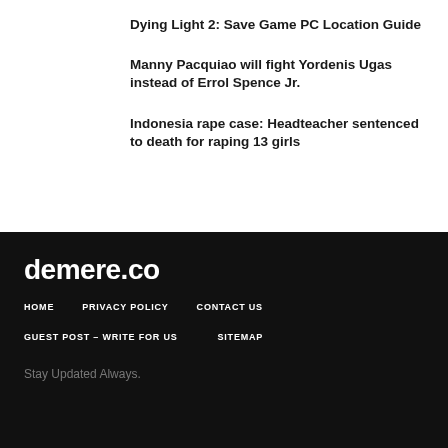Dying Light 2: Save Game PC Location Guide
Manny Pacquiao will fight Yordenis Ugas instead of Errol Spence Jr.
Indonesia rape case: Headteacher sentenced to death for raping 13 girls
demere.co
HOME  PRIVACY POLICY  CONTACT US
GUEST POST – WRITE FOR US  SITEMAP
Stay Updated Always.